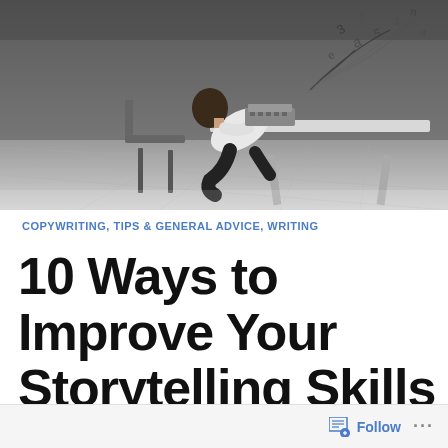[Figure (photo): Black and white dramatic photo of a man in a white shirt hunched over a typewriter at a desk, with abstract handwritten letters and numbers swirling into the air above. Dark moody studio lighting on a grey tiled floor background.]
COPYWRITING, TIPS & GENERAL ADVICE, WRITING
10 Ways to Improve Your Storytelling Skills
Follow ...